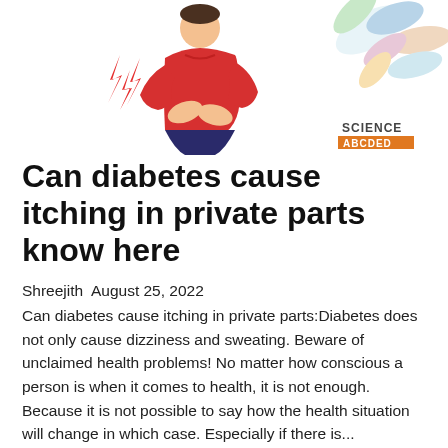[Figure (illustration): Illustration of a person in red holding their abdomen with lightning bolt symbols indicating pain, and a partial image of colorful pills/capsules in the upper right corner]
[Figure (logo): Science logo with 'SCIENCE' in dark text above an orange banner with white text]
Can diabetes cause itching in private parts know here
Shreejith  August 25, 2022
Can diabetes cause itching in private parts:Diabetes does not only cause dizziness and sweating. Beware of unclaimed health problems! No matter how conscious a person is when it comes to health, it is not enough. Because it is not possible to say how the health situation will change in which case. Especially if there is...